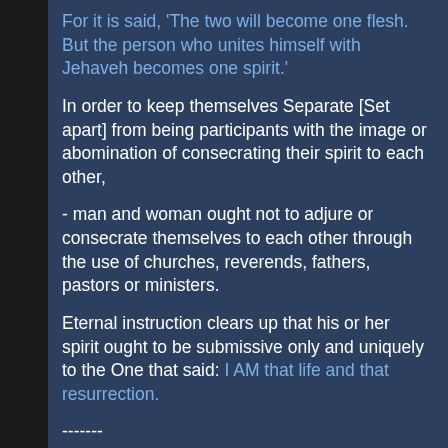For it is said, 'The two will become one flesh. But the person who unites himself with Jehaveh becomes one spirit.'
In order to keep themselves Separate [Set apart] from being participants with the image or abomination of consecrating their spirit to each other,
- man and woman ought not to adjure or consecrate themselves to each other through the use of churches, reverends, fathers, pastors or ministers.
Eternal instruction clears up that his or her spirit ought to be submissive only and uniquely to the One that said: I AM that life and that resurrection.
-------
2nd -- Is the union between siblings incest?
Their union is not against the Law given to the children of Yisrael.